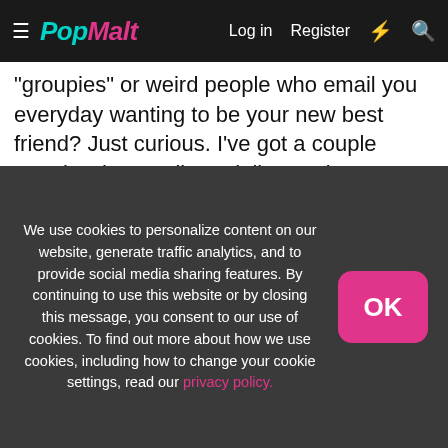PopMalt — Log in  Register
"groupies" or weird people who email you everyday wanting to be your new best friend? Just curious. I've got a couple people who email me daily wanting an update on my life. They ask all sorts of weird questions too. It's pretty freaky.
We use cookies to personalize content on our website, generate traffic analytics, and to provide social media sharing features. By continuing to use this website or by closing this message, you consent to our use of cookies. To find out more about how we use cookies, including how to change your cookie settings, read our privacy policy.